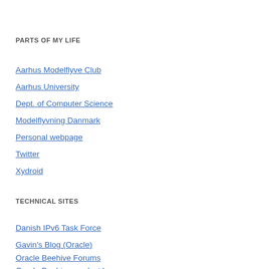PARTS OF MY LIFE
Aarhus Modelflyve Club
Aarhus University
Dept. of Computer Science
Modelflyvning Danmark
Personal webpage
Twitter
Xydroid
TECHNICAL SITES
Danish IPv6 Task Force
Gavin's Blog (Oracle)
Oracle Beehive Forums
Oracle Beehive product home